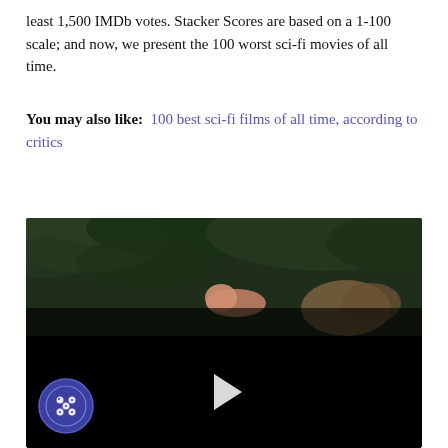least 1,500 IMDb votes. Stacker Scores are based on a 1-100 scale; and now, we present the 100 worst sci-fi movies of all time.
You may also like: 100 best sci-fi films of all time, according to critics
[Figure (screenshot): A video player showing a dark nature scene with foliage, a person lying down, and a rock. The bottom half is black with a white play button in the center. A cookie consent icon appears in the bottom-left corner.]